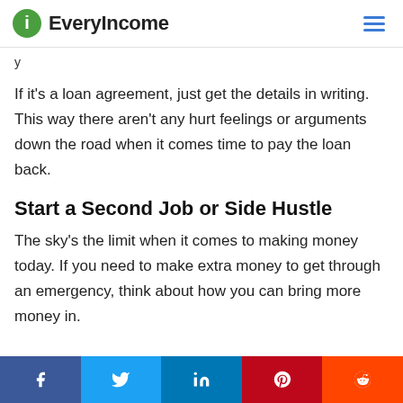EveryIncome
y
If it's a loan agreement, just get the details in writing. This way there aren't any hurt feelings or arguments down the road when it comes time to pay the loan back.
Start a Second Job or Side Hustle
The sky's the limit when it comes to making money today. If you need to make extra money to get through an emergency, think about how you can bring more money in.